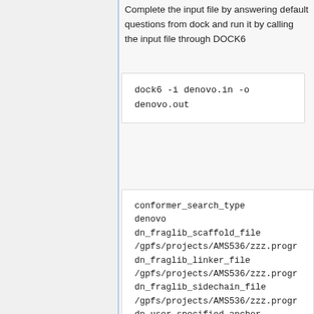Complete the input file by answering default questions from dock and run it by calling the input file through DOCK6
dock6 -i denovo.in -o denovo.out
conformer_search_type denovo
dn_fraglib_scaffold_file /gpfs/projects/AMS536/zzz.progr
dn_fraglib_linker_file /gpfs/projects/AMS536/zzz.progr
dn_fraglib_sidechain_file /gpfs/projects/AMS536/zzz.progr
dn_user_specified_anchor no
dn_use_torenv_table yes